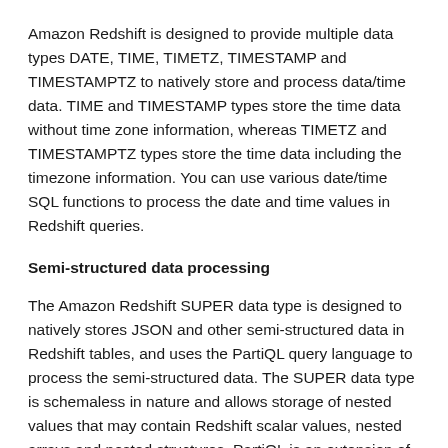Amazon Redshift is designed to provide multiple data types DATE, TIME, TIMETZ, TIMESTAMP and TIMESTAMPTZ to natively store and process data/time data. TIME and TIMESTAMP types store the time data without time zone information, whereas TIMETZ and TIMESTAMPTZ types store the time data including the timezone information. You can use various date/time SQL functions to process the date and time values in Redshift queries.
Semi-structured data processing
The Amazon Redshift SUPER data type is designed to natively stores JSON and other semi-structured data in Redshift tables, and uses the PartiQL query language to process the semi-structured data. The SUPER data type is schemaless in nature and allows storage of nested values that may contain Redshift scalar values, nested arrays and nested structures. PartiQL is an extension of SQL and provides querying capabilities such as object and array navigation, unnesting of arrays, dynamic typing, and schemaless semantics. This can help you to achieve advanced analytics that combine the classic structured SQL data with the semi-structured